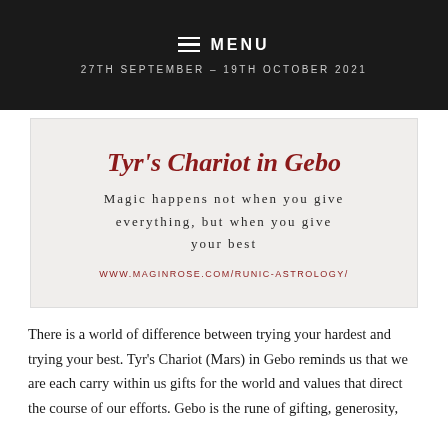MENU
27TH SEPTEMBER – 19TH OCTOBER 2021
[Figure (infographic): Card with cursive red title 'Tyr's Chariot in Gebo', quote text 'Magic happens not when you give everything, but when you give your best', and URL www.maginrose.com/runic-astrology/]
There is a world of difference between trying your hardest and trying your best. Tyr's Chariot (Mars) in Gebo reminds us that we are each carry within us gifts for the world and values that direct the course of our efforts. Gebo is the rune of gifting, generosity,